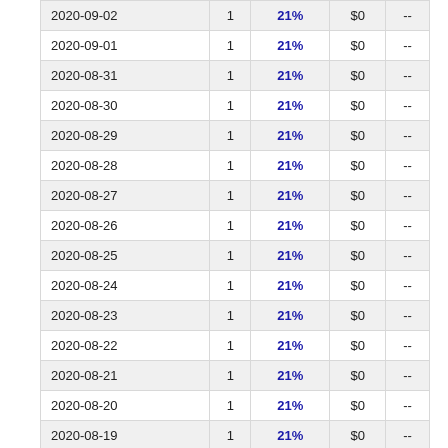| Date |  | 21% | $0 | -- |
| --- | --- | --- | --- | --- |
| 2020-09-02 | 1 | 21% | $0 | -- |
| 2020-09-01 | 1 | 21% | $0 | -- |
| 2020-08-31 | 1 | 21% | $0 | -- |
| 2020-08-30 | 1 | 21% | $0 | -- |
| 2020-08-29 | 1 | 21% | $0 | -- |
| 2020-08-28 | 1 | 21% | $0 | -- |
| 2020-08-27 | 1 | 21% | $0 | -- |
| 2020-08-26 | 1 | 21% | $0 | -- |
| 2020-08-25 | 1 | 21% | $0 | -- |
| 2020-08-24 | 1 | 21% | $0 | -- |
| 2020-08-23 | 1 | 21% | $0 | -- |
| 2020-08-22 | 1 | 21% | $0 | -- |
| 2020-08-21 | 1 | 21% | $0 | -- |
| 2020-08-20 | 1 | 21% | $0 | -- |
| 2020-08-19 | 1 | 21% | $0 | -- |
| 2020-08-18 | 1 | 21% | $0 | -- |